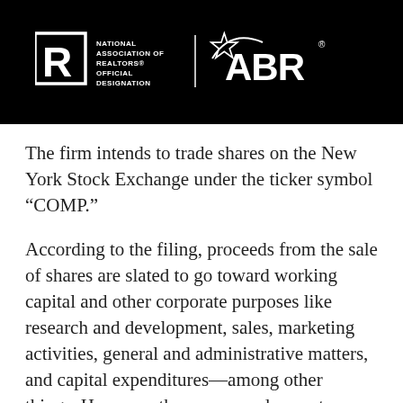[Figure (logo): Black banner with National Association of Realtors official designation logo (R icon with NAR text) on the left, a vertical white divider line, and the ABR logo with star on the right, all white on black background.]
The firm intends to trade shares on the New York Stock Exchange under the ticker symbol “COMP.”
According to the filing, proceeds from the sale of shares are slated to go toward working capital and other corporate purposes like research and development, sales, marketing activities, general and administrative matters, and capital expenditures—among other things. However, the company does not currently have any binding agreements or commitments for acquisitions “outside the ordinary course of business” at the moment, according to the